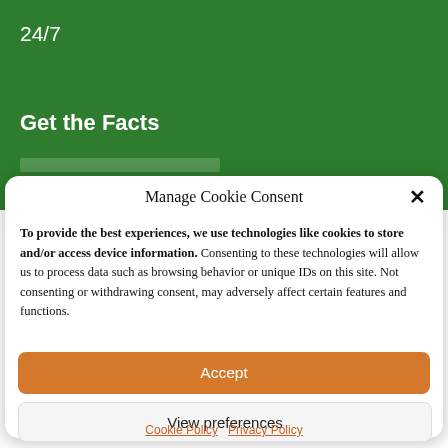24/7
Get the Facts
Manage Cookie Consent
To provide the best experiences, we use technologies like cookies to store and/or access device information. Consenting to these technologies will allow us to process data such as browsing behavior or unique IDs on this site. Not consenting or withdrawing consent, may adversely affect certain features and functions.
Accept
View preferences
Cookie Policy  Privacy Policy